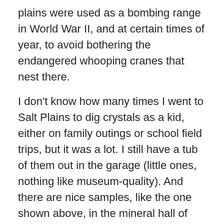plains were used as a bombing range in World War II, and at certain times of year, to avoid bothering the endangered whooping cranes that nest there.
I don't know how many times I went to Salt Plains to dig crystals as a kid, either on family outings or school field trips, but it was a lot. I still have a tub of them out in the garage (little ones, nothing like museum-quality). And there are nice samples, like the one shown above, in the mineral hall of just about every big natural history museum on the planet. One of my favorite things to do when I visit a new museum is go cruise the mineral display and find the selenite crystals from Salt Plains. I've seen Salt Plains selenite in London, Berlin, and Vienna, and in most of the US natural history museums that I've visited for research or for fun. The farm boy in me still gets a little thrill at